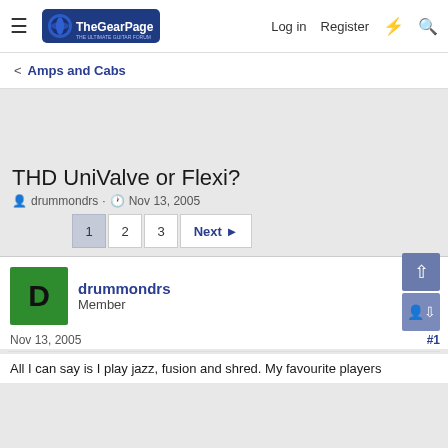The Gear Page - Log in Register
< Amps and Cabs
THD UniValve or Flexi?
drummondrs · Nov 13, 2005
1 2 3 Next
drummondrs Member
Nov 13, 2005 #1
All I can say is I play jazz, fusion and shred. My favourite players